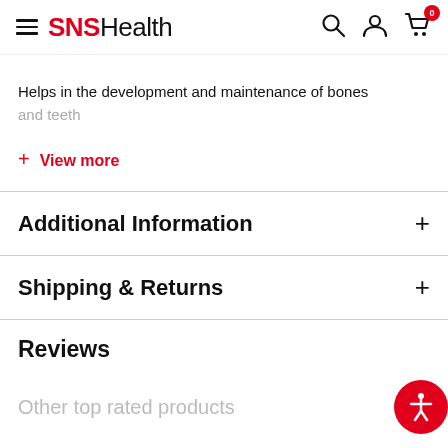SNSHealth
Helps in the development and maintenance of bones and teeth
+ View more
Additional Information +
Shipping & Returns +
Reviews
Other top rated products